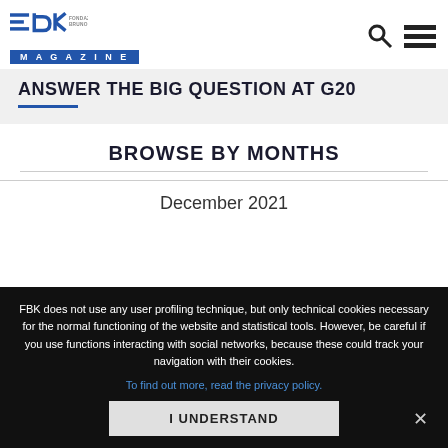Fondazione Bruno Kessler Magazine
ANSWER THE BIG QUESTION AT G20
BROWSE BY MONTHS
December 2021
FBK does not use any user profiling technique, but only technical cookies necessary for the normal functioning of the website and statistical tools. However, be careful if you use functions interacting with social networks, because these could track your navigation with their cookies.
To find out more, read the privacy policy.
I UNDERSTAND